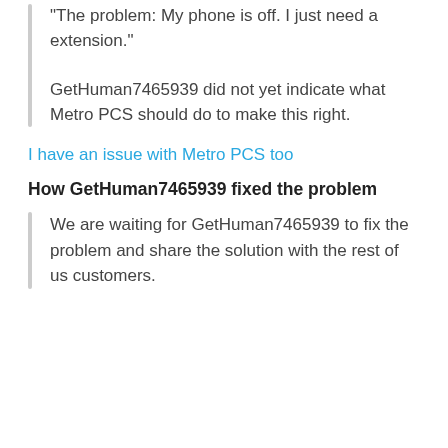"The problem: My phone is off. I just need a extension."
GetHuman7465939 did not yet indicate what Metro PCS should do to make this right.
I have an issue with Metro PCS too
How GetHuman7465939 fixed the problem
We are waiting for GetHuman7465939 to fix the problem and share the solution with the rest of us customers.